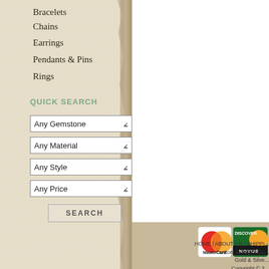Bracelets
Chains
Earrings
Pendants & Pins
Rings
QUICK SEARCH
Any Gemstone
Any Material
Any Style
Any Price
SEARCH
[Figure (logo): MasterCard and Discover Novus payment logos]
HOME | ABOUT US | SHIPPI... Custom Design | Gu... Gold & Silve... Copyright © 2...